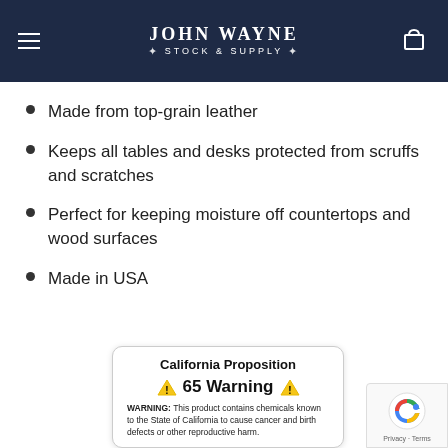JOHN WAYNE STOCK & SUPPLY
Made from top-grain leather
Keeps all tables and desks protected from scruffs and scratches
Perfect for keeping moisture off countertops and wood surfaces
Made in USA
[Figure (infographic): California Proposition 65 Warning box with yellow warning triangles. WARNING: This product contains chemicals known to the State of California to cause cancer and birth defects or other reproductive harm.]